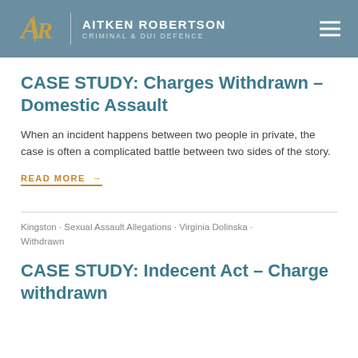AITKEN ROBERTSON — CRIMINAL & DUI DEFENCE
CASE STUDY: Charges Withdrawn – Domestic Assault
When an incident happens between two people in private, the case is often a complicated battle between two sides of the story.
READ MORE →
Kingston · Sexual Assault Allegations · Virginia Dolinska · Withdrawn
CASE STUDY: Indecent Act – Charge withdrawn